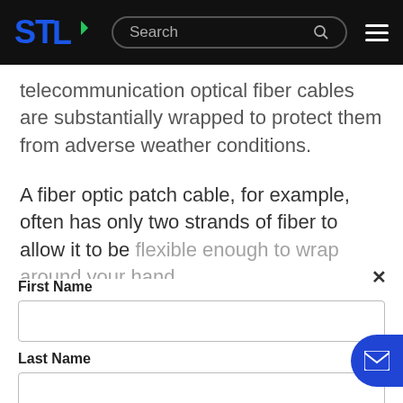[Figure (screenshot): STL website navigation bar with logo, search bar, and hamburger menu on black background]
telecommunication optical fiber cables are substantially wrapped to protect them from adverse weather conditions.
A fiber optic patch cable, for example, often has only two strands of fiber to allow it to be flexible enough to wrap around your hand
×
First Name
Last Name